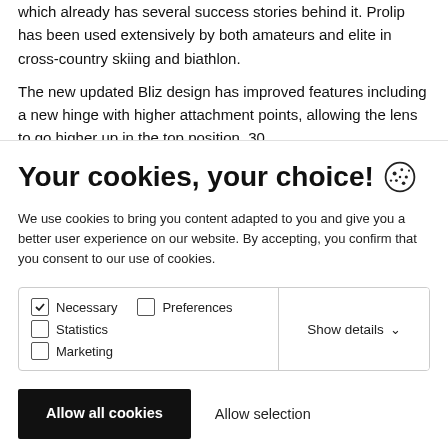which already has several success stories behind it. Prolip has been used extensively by both amateurs and elite in cross-country skiing and biathlon.
The new updated Bliz design has improved features including a new hinge with higher attachment points, allowing the lens to go higher up in the top position. 30
Your cookies, your choice!
We use cookies to bring you content adapted to you and give you a better user experience on our website. By accepting, you confirm that you consent to our use of cookies.
Necessary (checked), Preferences (unchecked), Statistics (unchecked), Marketing (unchecked). Show details.
Allow all cookies | Allow selection